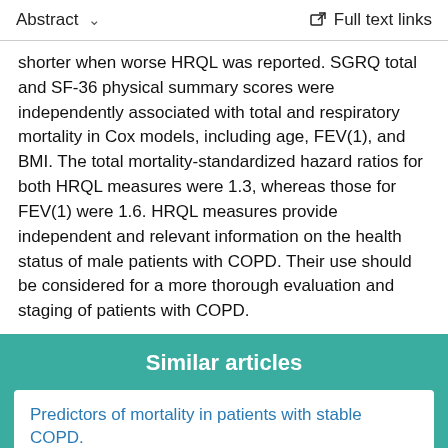Abstract  ∨    Full text links
shorter when worse HRQL was reported. SGRQ total and SF-36 physical summary scores were independently associated with total and respiratory mortality in Cox models, including age, FEV(1), and BMI. The total mortality-standardized hazard ratios for both HRQL measures were 1.3, whereas those for FEV(1) were 1.6. HRQL measures provide independent and relevant information on the health status of male patients with COPD. Their use should be considered for a more thorough evaluation and staging of patients with COPD.
Similar articles
Predictors of mortality in patients with stable COPD.
Esteban C, et al. J Gen Intern Med. 2008. PMID: 18795373